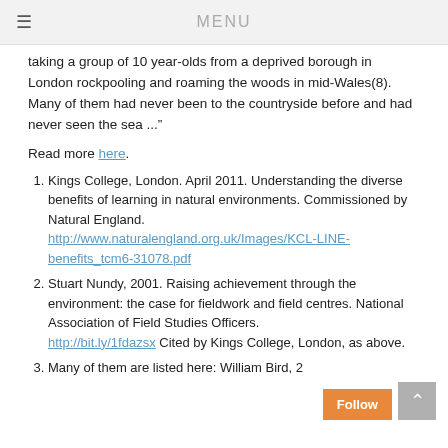MENU
taking a group of 10 year-olds from a deprived borough in London rockpooling and roaming the woods in mid-Wales(8). Many of them had never been to the countryside before and had never seen the sea ..."
Read more here.
Kings College, London. April 2011. Understanding the diverse benefits of learning in natural environments. Commissioned by Natural England. http://www.naturalengland.org.uk/Images/KCL-LINE-benefits_tcm6-31078.pdf
Stuart Nundy, 2001. Raising achievement through the environment: the case for fieldwork and field centres. National Association of Field Studies Officers. http://bit.ly/1fdazsx Cited by Kings College, London, as above.
Many of them are listed here: William Bird, 2...